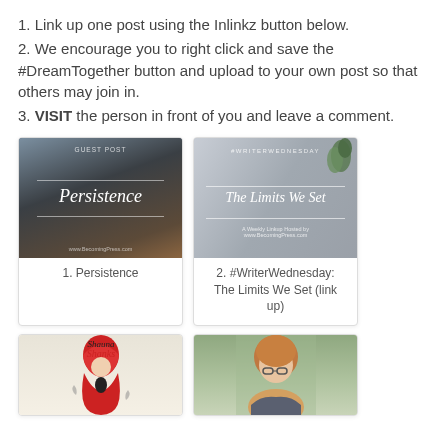1. Link up one post using the Inlinkz button below.
2. We encourage you to right click and save the #DreamTogether button and upload to your own post so that others may join in.
3. VISIT the person in front of you and leave a comment.
[Figure (photo): Blog post thumbnail with dark background showing a ceramic mug, titled 'Persistence', labeled as Guest Post]
1. Persistence
[Figure (photo): Blog post thumbnail with gray background and succulent plant, titled 'The Limits We Set', labeled as #WriterWednesday]
2. #WriterWednesday: The Limits We Set (link up)
[Figure (photo): Book cover with red and cream design showing 'Shauna Shanks' text with illustrated figure]
[Figure (photo): Photo of a woman with short reddish hair wearing glasses, outdoors with green background]